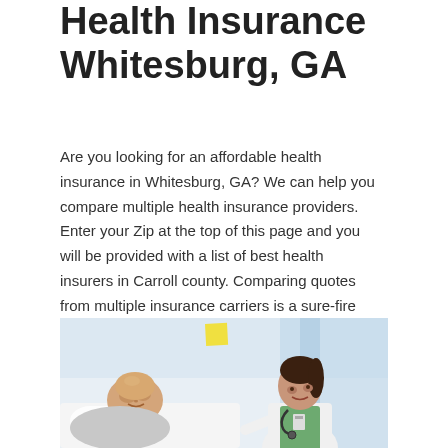Health Insurance Whitesburg, GA
Are you looking for an affordable health insurance in Whitesburg, GA? We can help you compare multiple health insurance providers. Enter your Zip at the top of this page and you will be provided with a list of best health insurers in Carroll county. Comparing quotes from multiple insurance carriers is a sure-fire way to guarantee that you are getting a good deal on your coverage.
[Figure (photo): A doctor or nurse with a stethoscope leaning toward an elderly male patient lying in a hospital bed, in a clinical setting.]